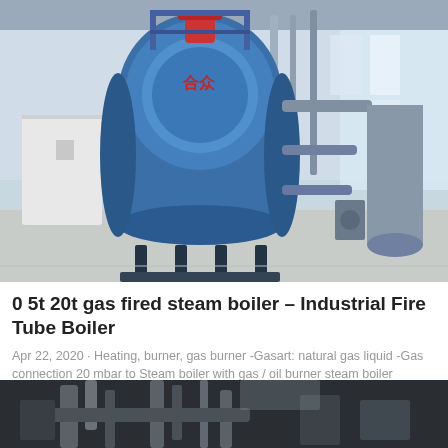[Figure (photo): Industrial gas fired steam boiler in a large factory setting. A large blue cylindrical boiler with Chinese text is in the center, surrounded by grey metal cabinetry, pipes, and industrial equipment. Bright industrial lighting and windows visible in the background.]
0 5t 20t gas fired steam boiler – Industrial Fire Tube Boiler
Apr 22, 2020 · Heating, burner, gas burner -Gasart: natural gas liquid -Gas connection 20 mbar to Steam boiler with gas / oil burner steam boiler Manufacturer: Giese-Kazép 1 steamboiler Omnical, Borsig Energy type 33HD 5,0,. year 2001, 13 bar, 2,6 M…
[Figure (screenshot): A cyan/blue 'Get Price' button]
[Figure (screenshot): A green WhatsApp button with the WhatsApp logo icon and the text 'WhatsApp']
[Figure (photo): A second industrial photo, partially visible at the bottom of the page, showing pipes and industrial machinery on a dark background.]